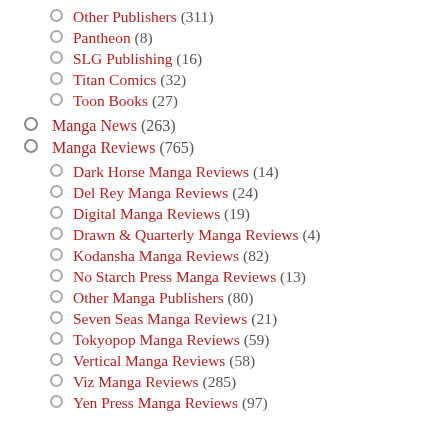Other Publishers (311)
Pantheon (8)
SLG Publishing (16)
Titan Comics (32)
Toon Books (27)
Manga News (263)
Manga Reviews (765)
Dark Horse Manga Reviews (14)
Del Rey Manga Reviews (24)
Digital Manga Reviews (19)
Drawn & Quarterly Manga Reviews (4)
Kodansha Manga Reviews (82)
No Starch Press Manga Reviews (13)
Other Manga Publishers (80)
Seven Seas Manga Reviews (21)
Tokyopop Manga Reviews (59)
Vertical Manga Reviews (58)
Viz Manga Reviews (285)
Yen Press Manga Reviews (97)